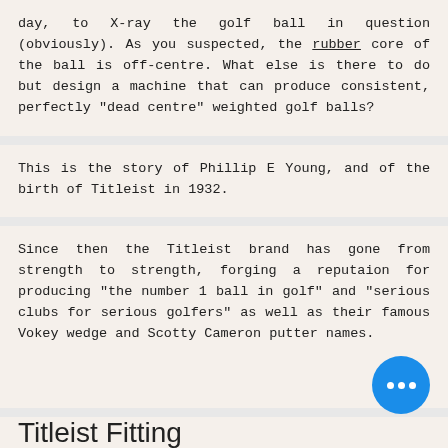day, to X-ray the golf ball in question (obviously). As you suspected, the rubber core of the ball is off-centre. What else is there to do but design a machine that can produce consistent, perfectly "dead centre" weighted golf balls?
This is the story of Phillip E Young, and of the birth of Titleist in 1932.
Since then the Titleist brand has gone from strength to strength, forging a reputaion for producing "the number 1 ball in golf" and "serious clubs for serious golfers" as well as their famous Vokey wedge and Scotty Cameron putter names.
Titleist Fitting
At Premium Golf we have a full Titleist fitting kit along with indoor and outdoor hitting facilities. TrackMan and highly qualified A profeessional fitters, enabling us to fit r Titleist drivers, woods, hybrids and irons. Vokey